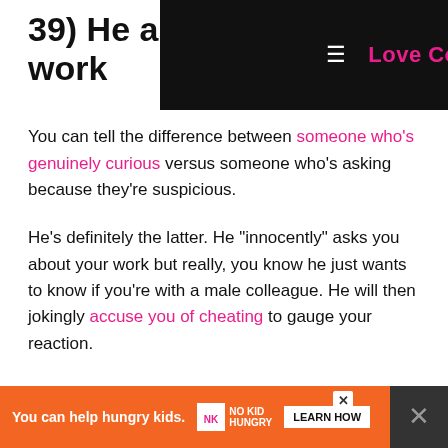39) He interrogates you about your work
[Figure (screenshot): Navigation bar overlay for 'Love Connection' website with hamburger menu icon and pink brand name on dark background]
You can tell the difference between someone who's genuinely curious versus someone who's asking because they're suspicious.
He's definitely the latter. He "innocently" asks you about your work but really, you know he just wants to know if you're with a male colleague. He will then jokingly accuse you of cheating to gauge your reaction.
40) He interrogates you after a holiday trip
Th
[Figure (screenshot): Advertisement banner: orange background with 'You can help hungry kids.' No Kid Hungry logo and LEARN HOW button, with X close button and dark panel on right]